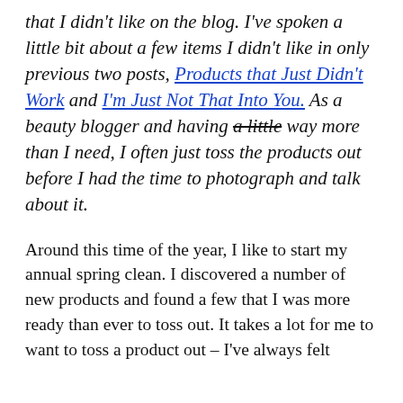that I didn't like on the blog. I've spoken a little bit about a few items I didn't like in only previous two posts, Products that Just Didn't Work and I'm Just Not That Into You. As a beauty blogger and having a little [strikethrough] way more than I need, I often just toss the products out before I had the time to photograph and talk about it.
Around this time of the year, I like to start my annual spring clean. I discovered a number of new products and found a few that I was more ready than ever to toss out. It takes a lot for me to want to toss a product out – I've always felt